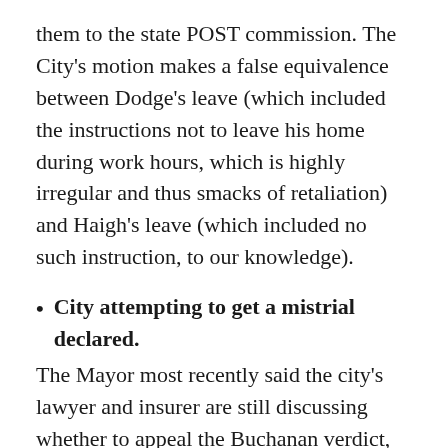them to the state POST commission. The City's motion makes a false equivalence between Dodge's leave (which included the instructions not to leave his home during work hours, which is highly irregular and thus smacks of retaliation) and Haigh's leave (which included no such instruction, to our knowledge).
City attempting to get a mistrial declared. The Mayor most recently said the city's lawyer and insurer are still discussing whether to appeal the Buchanan verdict, and the Mayor claims that the case is entirely out of her hands. Note that the City's legal team is currently seeking a mistrial on the basis that McCarthy's Confederate flag, and Haigh's (non-)response to it, should not have been allowed as evidence in the trial. From our